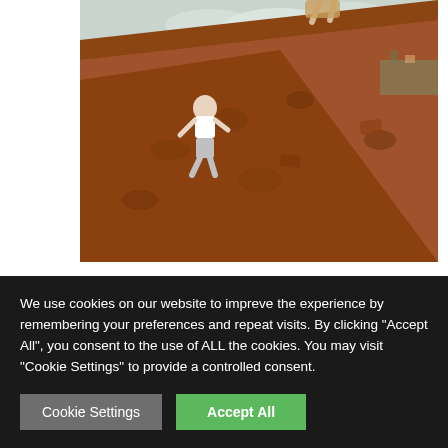[Figure (photo): Two children climbing a steep reddish-brown dirt/rock embankment or cliff face. Mountains and green landscape visible in the background with cloudy sky.]
We use cookies on our website to impreve the experience by remembering your preferences and repeat visits. By clicking "Accept All", you consent to the use of ALL the cookies. You may visit "Cookie Settings" to provide a controlled consent.